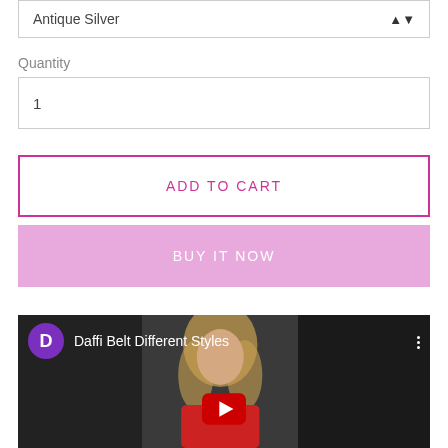Antique Silver
Quantity
1
ADD TO CART
BUY IT NOW
[Figure (screenshot): YouTube video thumbnail showing a woman with curly blonde hair, with channel avatar 'D' in purple circle, title 'Daffi Belt Different Styles', and a YouTube play button visible at bottom center]